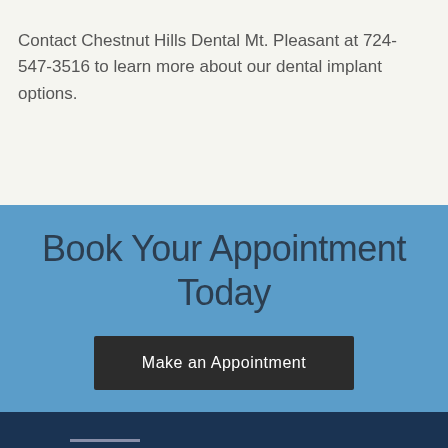Contact Chestnut Hills Dental Mt. Pleasant at 724-547-3516 to learn more about our dental implant options.
Book Your Appointment Today
Make an Appointment